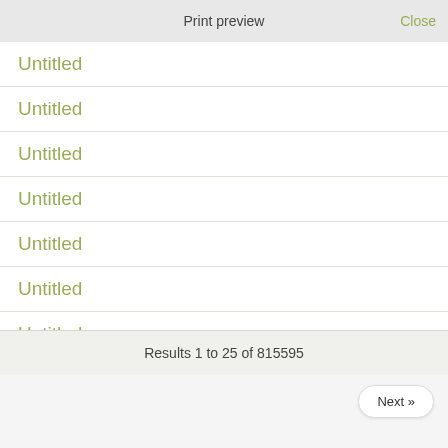Print preview
Close
Untitled
Untitled
Untitled
Untitled
Untitled
Untitled
Untitled
Results 1 to 25 of 815595
Next »